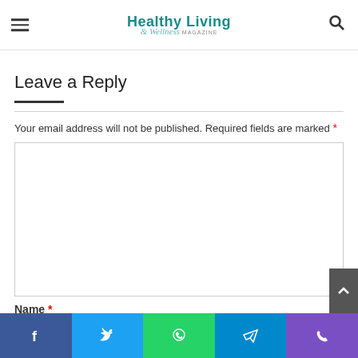Healthy Living & Wellness Magazine
Leave a Reply
Your email address will not be published. Required fields are marked *
[Figure (screenshot): Text comment input box (empty white rectangle)]
Name *
[Figure (screenshot): Social sharing bar with Facebook, Twitter, WhatsApp, Telegram, and Phone icons]